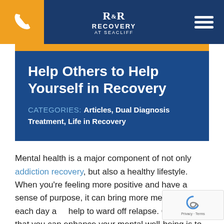R&R Recovery at Seacliff [logo] [phone] [menu]
Help Others to Help Yourself in Recovery
CATEGORIES: Articles, Dual Diagnosis Treatment, Life in Recovery
Mental health is a major component of not only addiction recovery, but also a healthy lifestyle. When you're feeling more positive and have a sense of purpose, it can bring more meaning to each day and help to ward off relapse. One way that you can enhance your mental well-being is to spend time